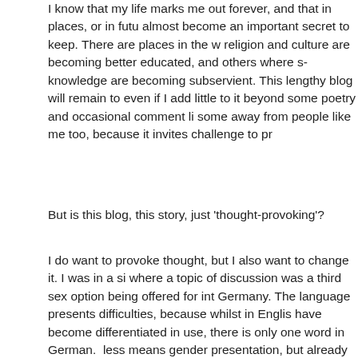I know that my life marks me out forever, and that in places, or in future times, it may almost become an important secret to keep. There are places in the world where religion and culture are becoming better educated, and others where such knowledge are becoming subservient. This lengthy blog will remain to be read, even if I add little to it beyond some poetry and occasional comment likes. It keeps some away from people like me too, because it invites challenge to prove its worth.
But is this blog, this story, just 'thought-provoking'?
I do want to provoke thought, but I also want to change it. I was in a situation where a topic of discussion was a third sex option being offered for introduction in Germany. The language presents difficulties, because whilst in English two words have become differentiated in use, there is only one word in German. That word more or less means gender presentation, but already suggests something optional rather than innate. And so the conversation came to include transgender people and how it comes I knew so much about a topic others were new to? There is one obvious answer, so I gave it, and passed on the URL to this blog. I can digest the history of transgender, or the research, by way of explanation, but I think people find their own path, perhaps with story that touches, rather than facts that educate.
I don't think anyone will ever say they read all of this. I guess it's actually fine. I hope it invites a bit more reading and thinking, not just a first dip.